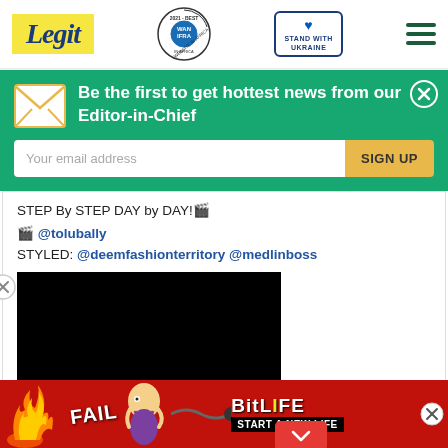Legit | WAN IFRA 2021 Best News Website in Africa | Stand With Ukraine | Menu
Be the first to get hottest news from our Editor-in-Chief
Your email address | SIGN UP
STEP By STEP DAY by DAY!🎬
🎬 @tolubally
STYLED: @deemfashionterritory @medlinboss
[Figure (screenshot): Black video thumbnail area]
[Figure (screenshot): BitLife advertisement banner: FAIL character, fire, snake logo, BitLIFE, START A NEW LIFE]